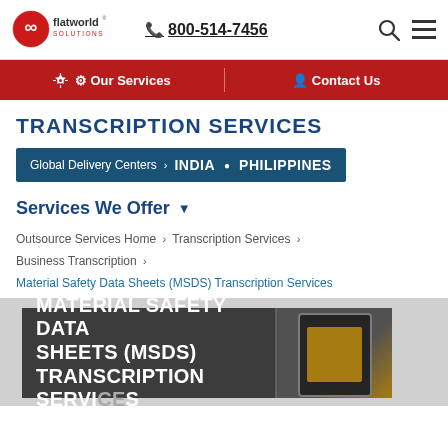flatworld solutions · 800-514-7456
Our Services | Contact Us
TRANSCRIPTION SERVICES
Global Delivery Centers > INDIA • PHILIPPINES
Services We Offer
Outsource Services Home > Transcription Services > Business Transcription >
Material Safety Data Sheets (MSDS) Transcription Services
[Figure (screenshot): Dark banner with white bold text reading MATERIAL SAFETY DATA SHEETS (MSDS) TRANSCRIPTION SERVICES with a partial image of a tablet device on the right]